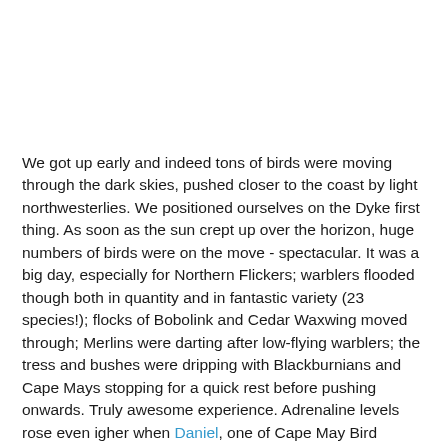We got up early and indeed tons of birds were moving through the dark skies, pushed closer to the coast by light northwesterlies. We positioned ourselves on the Dyke first thing. As soon as the sun crept up over the horizon, huge numbers of birds were on the move - spectacular. It was a big day, especially for Northern Flickers; warblers flooded though both in quantity and in fantastic variety (23 species!); flocks of Bobolink and Cedar Waxwing moved through; Merlins were darting after low-flying warblers; the tress and bushes were dripping with Blackburnians and Cape Mays stopping for a quick rest before pushing onwards. Truly awesome experience. Adrenaline levels rose even igher when Daniel, one of Cape May Bird Observatory's migration counters yelled "Get on that flycatcher!" - a young Vermillion Flycatcher flew by giving good views, only the 2nd for Cape